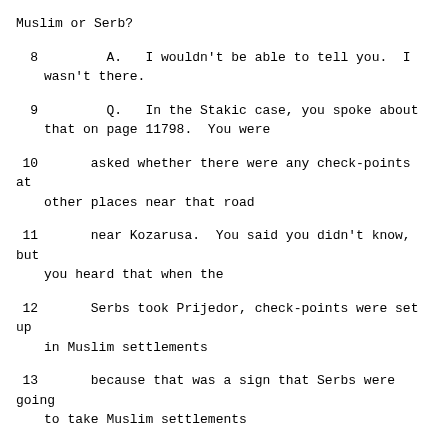Muslim or Serb?
8        A.   I wouldn't be able to tell you.  I wasn't there.
9        Q.   In the Stakic case, you spoke about that on page 11798.  You were
10      asked whether there were any check-points at other places near that road
11      near Kozarusa.  You said you didn't know, but you heard that when the
12      Serbs took Prijedor, check-points were set up in Muslim settlements
13      because that was a sign that Serbs were going to take Muslim settlements